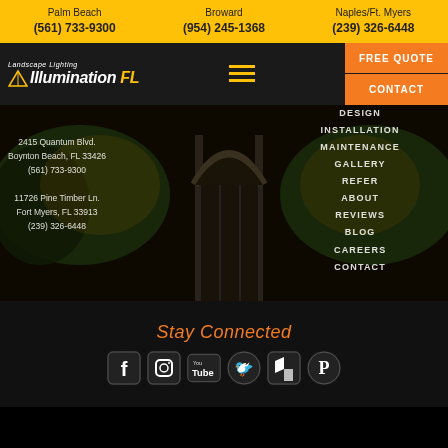Palm Beach (561) 733-9300 | Broward (954) 245-1368 | Naples/Ft. Myers (239) 326-6448
[Figure (logo): Landscape Lighting by Illumination FL logo with hamburger menu, FREE QUOTE button, and CONTACT button]
[Figure (photo): Night scene of illuminated home entrance with archway, trees lit with landscape lighting]
2415 Quantum Blvd.
Boynton Beach, FL 33426
(561) 733-9300

11726 Pine Timber Ln.
Fort Myers, FL 33913
(239) 326-6448
DESIGN
INSTALLATION
MAINTENANCE
GALLERY
REFER
ABOUT
REVIEWS
BLOG
CAREERS
CONTACT
Stay Connected
[Figure (infographic): Social media icons: Facebook, Instagram, YouTube, Twitter, Houzz, Pinterest]